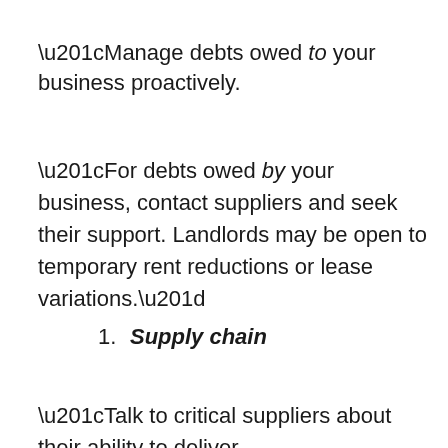“Manage debts owed to your business proactively.
“For debts owed by your business, contact suppliers and seek their support. Landlords may be open to temporary rent reductions or lease variations.”
1. Supply chain
“Talk to critical suppliers about their ability to deliver reliably.”